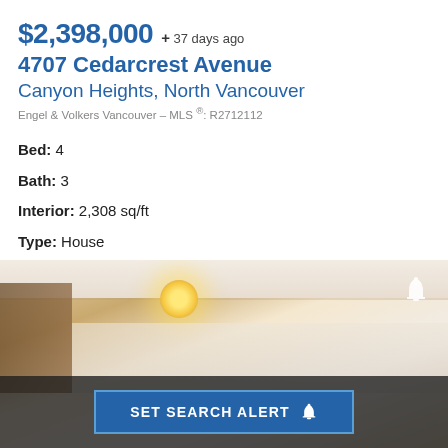$2,398,000 + 37 days ago
4707 Cedarcrest Avenue
Canyon Heights, North Vancouver
Engel & Volkers Vancouver – MLS ®: R2712112
Bed: 4
Bath: 3
Interior: 2,308 sq/ft
Type: House
[Figure (photo): Interior photo of a room ceiling with warm ceiling light fixture and wooden stair elements visible]
SET SEARCH ALERT